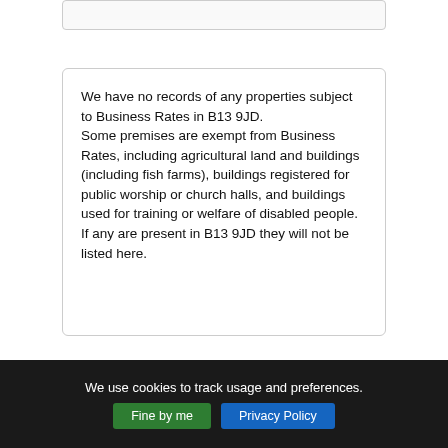We have no records of any properties subject to Business Rates in B13 9JD.
Some premises are exempt from Business Rates, including agricultural land and buildings (including fish farms), buildings registered for public worship or church halls, and buildings used for training or welfare of disabled people. If any are present in B13 9JD they will not be listed here.
We use cookies to track usage and preferences. Fine by me  Privacy Policy